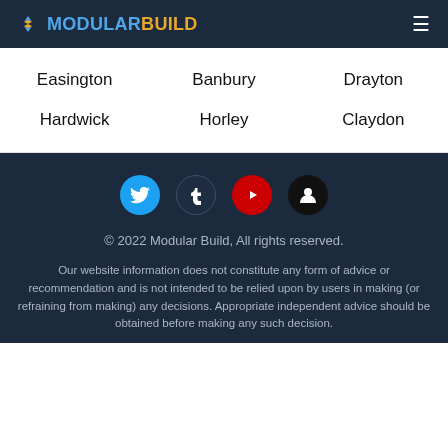MODULARBUILD
Easington
Banbury
Drayton
Hardwick
Horley
Claydon
[Figure (other): Social media icons: Twitter (blue circle), Tumblr (dark navy circle), YouTube (red circle), other (black circle)]
© 2022 Modular Build, All rights reserved.
Our website information does not constitute any form of advice or recommendation and is not intended to be relied upon by users in making (or refraining from making) any decisions. Appropriate independent advice should be obtained before making any such decision.